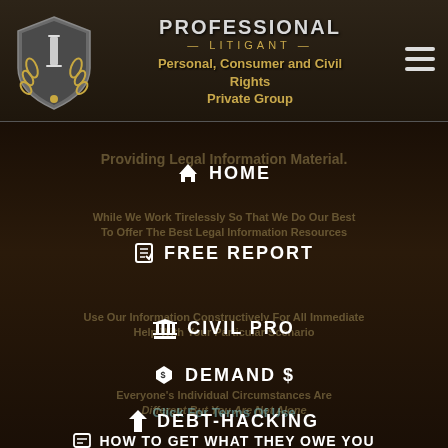[Figure (logo): Professional Litigant shield/column logo with gold laurel wreath]
PROFESSIONAL LITIGANT — Personal, Consumer and Civil Rights Private Group
Providing Legal Information Material.
HOME
While We Work Tirelessly So That We Do Our Best To Offer The Best Legal Information Resources
FREE REPORT
CIVIL PRO
Use Our Information Constructively For Immediate Help With Your Scenario
DEMAND $
Everyone's Individual Circumstances Are Different But You Are Not Alone
DEBT-HACKING
HOW TO GET WHAT THEY OWE YOU
Click For Terms Of Use
FAQ